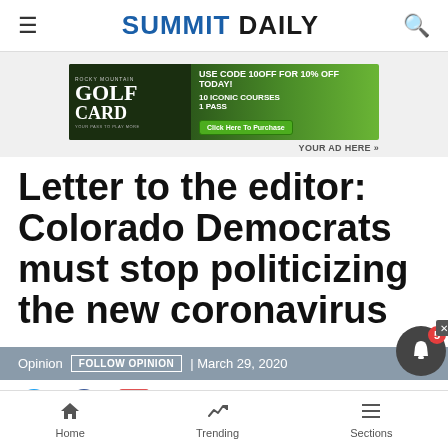Summit Daily
[Figure (illustration): Rocky Mountain Golf Card advertisement banner: 'USE CODE 10OFF FOR 10% OFF TODAY! 10 ICONIC COURSES 1 PASS' with 'Click Here To Purchase' button]
YOUR AD HERE »
Letter to the editor: Colorado Democrats must stop politicizing the new coronavirus
Opinion  FOLLOW OPINION  | March 29, 2020